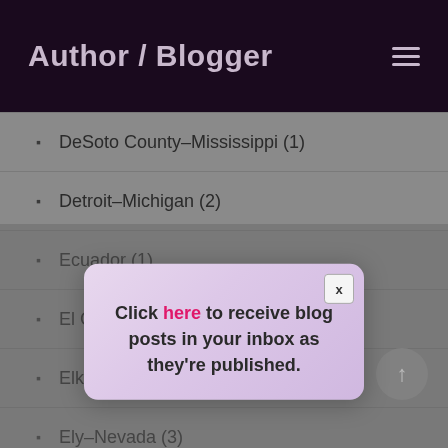Author / Blogger
DeSoto County–Mississippi (1)
Detroit–Michigan (2)
Ecuador (1)
El Cerrito–California
Elko–Nevada (8
Ely–Nevada (3)
Emeryville–California (1)
Emigrant Pass (1)
[Figure (screenshot): Modal popup with lavender/pink background containing bold text: 'Click here to receive blog posts in your inbox as they're published.' with 'here' in pink/magenta. Has a close button marked x in top right corner.]